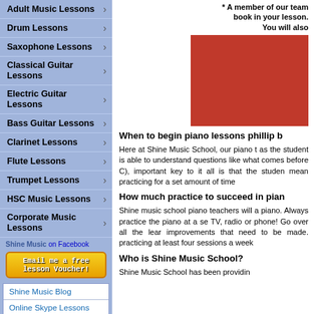Adult Music Lessons
Drum Lessons
Saxophone Lessons
Classical Guitar Lessons
Electric Guitar Lessons
Bass Guitar Lessons
Clarinet Lessons
Flute Lessons
Trumpet Lessons
HSC Music Lessons
Corporate Music Lessons
Shine Music on Facebook
Email me a free lesson Voucher!
Shine Music Blog
Online Skype Lessons
Newsletter
Student of the Month
* A member of our team book in your lesson. You will also
[Figure (photo): Red textured image, partially visible, on the right side of the page]
When to begin piano lessons phillip b
Here at Shine Music School, our piano t as the student is able to understand questions like what comes before C), important key to it all is that the studen mean practicing for a set amount of time
How much practice to succeed in pian
Shine music school piano teachers will a piano. Always practice the piano at a se TV, radio or phone! Go over all the lear improvements that need to be made. practicing at least four sessions a week
Who is Shine Music School?
Shine Music School has been providin